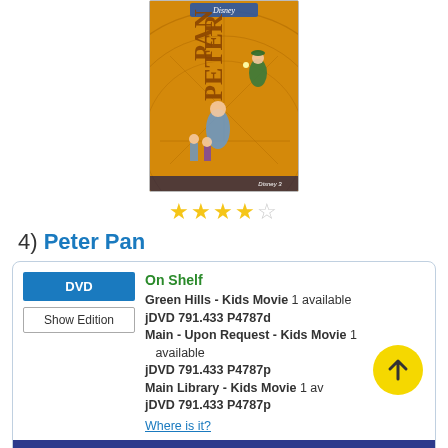[Figure (illustration): Peter Pan Disney DVD movie cover showing characters flying past a clock face with yellow/gold background]
★★★★☆
4)  Peter Pan
DVD
Show Edition
On Shelf
Green Hills - Kids Movie  1 available
jDVD 791.433 P4787d
Main - Upon Request - Kids Movie  1 available
jDVD 791.433 P4787p
Main Library - Kids Movie  1 available
jDVD 791.433 P4787p
Where is it?
Place Hold